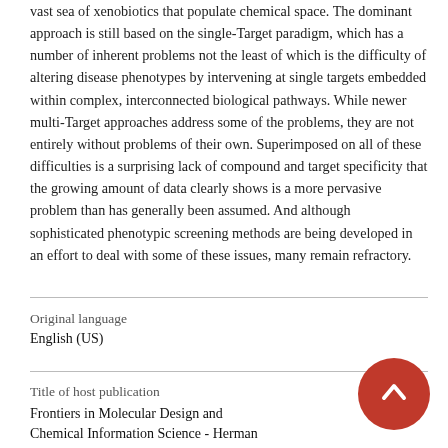vast sea of xenobiotics that populate chemical space. The dominant approach is still based on the single-Target paradigm, which has a number of inherent problems not the least of which is the difficulty of altering disease phenotypes by intervening at single targets embedded within complex, interconnected biological pathways. While newer multi-Target approaches address some of the problems, they are not entirely without problems of their own. Superimposed on all of these difficulties is a surprising lack of compound and target specificity that the growing amount of data clearly shows is a more pervasive problem than has generally been assumed. And although sophisticated phenotypic screening methods are being developed in an effort to deal with some of these issues, many remain refractory.
| Field | Value |
| --- | --- |
| Original language | English (US) |
| Title of host publication | Frontiers in Molecular Design and Chemical Information Science - Herman |